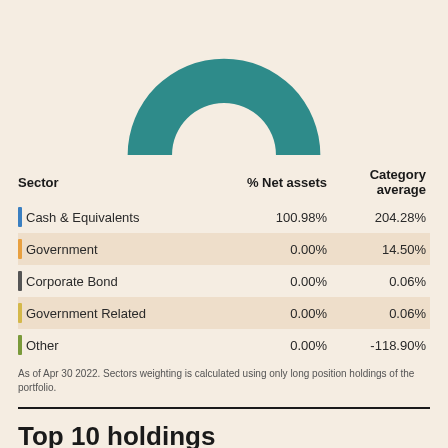[Figure (donut-chart): Donut chart showing sector allocation — predominantly teal/green color representing Cash & Equivalents at ~100.98%. Only the top portion of the donut is visible as the chart is cropped at the top of the page.]
| Sector | % Net assets | Category average |
| --- | --- | --- |
| Cash & Equivalents | 100.98% | 204.28% |
| Government | 0.00% | 14.50% |
| Corporate Bond | 0.00% | 0.06% |
| Government Related | 0.00% | 0.06% |
| Other | 0.00% | -118.90% |
As of Apr 30 2022. Sectors weighting is calculated using only long position holdings of the portfolio.
Top 10 holdings